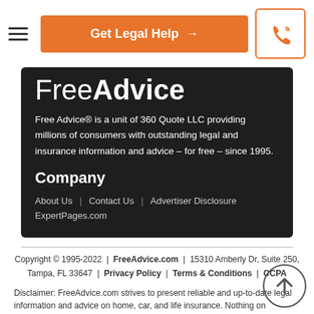Get Legal Help →
Free Advice
Free Advice® is a unit of 360 Quote LLC providing millions of consumers with outstanding legal and insurance information and advice – for free – since 1995.
Company
About Us
Contact Us
Advertiser Disclosure
ExpertPages.com
Copyright © 1995-2022 | FreeAdvice.com | 15310 Amberly Dr, Suite 250, Tampa, FL 33647 | Privacy Policy | Terms & Conditions | CCPA
Disclaimer: FreeAdvice.com strives to present reliable and up-to-date legal information and advice on home, car, and life insurance. Nothing on FreeAdvice.com constitutes legal